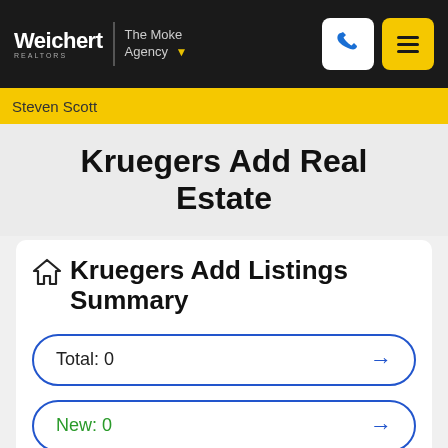Weichert REALTORS | The Moke Agency
Steven Scott
Kruegers Add Real Estate
Kruegers Add Listings Summary
Total: 0
New: 0
Reduced: 0